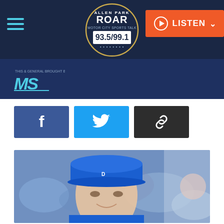[Figure (logo): ROAR Motor City Sports Talk 93.5/99.1 radio station logo in circular badge style]
[Figure (logo): MS sponsor logo with small text above it]
[Figure (other): Social share buttons: Facebook (blue f), Twitter (blue bird), Link/copy (dark chain icon)]
[Figure (photo): Young man wearing a blue Detroit Lions cap and blue hoodie, smiling, with blurred crowd background]